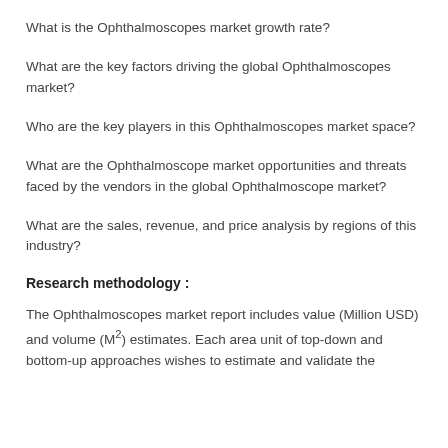What is the Ophthalmoscopes market growth rate?
What are the key factors driving the global Ophthalmoscopes market?
Who are the key players in this Ophthalmoscopes market space?
What are the Ophthalmoscope market opportunities and threats faced by the vendors in the global Ophthalmoscope market?
What are the sales, revenue, and price analysis by regions of this industry?
Research methodology :
The Ophthalmoscopes market report includes value (Million USD) and volume (M²) estimates. Each area unit of top-down and bottom-up approaches wishes to estimate and validate the market size of the Ophthalmoscopes market, and the share of